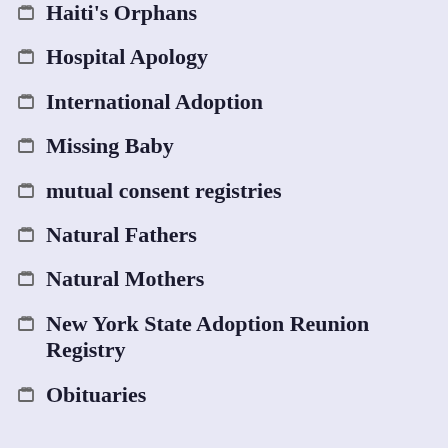Haiti's Orphans
Hospital Apology
International Adoption
Missing Baby
mutual consent registries
Natural Fathers
Natural Mothers
New York State Adoption Reunion Registry
Obituaries